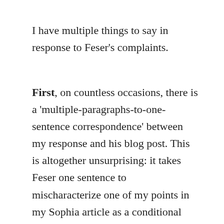I have multiple things to say in response to Feser's complaints.
First, on countless occasions, there is a 'multiple-paragraphs-to-one-sentence correspondence' between my response and his blog post. This is altogether unsurprising: it takes Feser one sentence to mischaracterize one of my points in my Sophia article as a conditional claim, or to misrepresent the points I say on behalf of my account of per se chains, or to mistakenly allege questions begged, or to gesture towards pages in his book where he addresses things, or to intimate/hint/suggest that I'm behind sock puppetry. [Let me be loud and clear: I do not claim Feser intentionally or